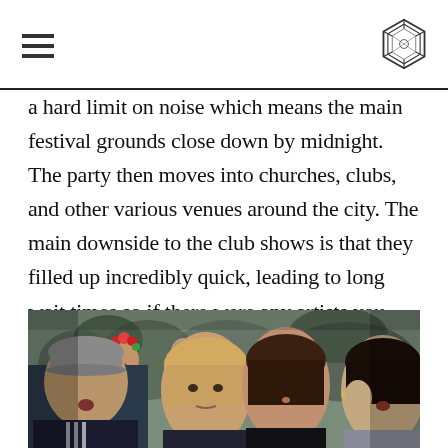[hamburger menu icon] [logo/diamond icon]
a hard limit on noise which means the main festival grounds close down by midnight. The party then moves into churches, clubs, and other various venues around the city. The main downside to the club shows is that they filled up incredibly quick, leading to long wait times so if there were any artists you wanted to see, you better leave that Kendrick Lamar show early.
[Figure (photo): A crowd of young people at an outdoor music festival, several women in the foreground singing or reacting enthusiastically. One woman wears a floral crown, another wears a grey baseball cap. Shot in natural light.]